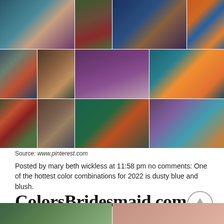[Figure (photo): A collage of wedding photos featuring teal/dark blue bridesmaid dresses, colorful floral arrangements, and wedding decor in jewel tones including purple, orange, and teal. 12 photos arranged in a 6-column, 3-row grid.]
Source: www.pinterest.com
Posted by mary beth wickless at 11:58 pm no comments: One of the hottest color combinations for 2022 is dusty blue and blush.
ColorsBridesmaid.com
[Figure (photo): Two partial images at the bottom: left shows greenery/floral, right shows pink/blush tones.]